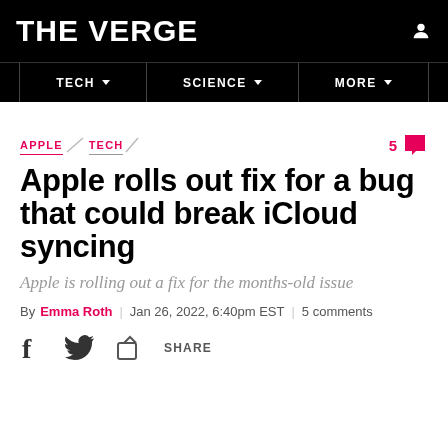THE VERGE
TECH | SCIENCE | MORE
APPLE / TECH
Apple rolls out fix for a bug that could break iCloud syncing
Apple is rolling out a fix for the months-old issue
By Emma Roth | Jan 26, 2022, 6:40pm EST | 5 comments
SHARE